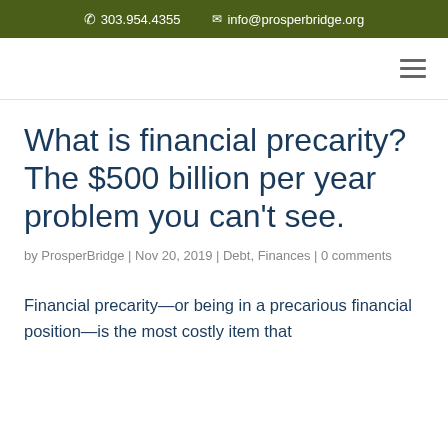303.954.4355   info@prosperbridge.org
What is financial precarity?  The $500 billion per year problem you can't see.
by ProsperBridge | Nov 20, 2019 | Debt, Finances | 0 comments
Financial precarity—or being in a precarious financial position—is the most costly item that